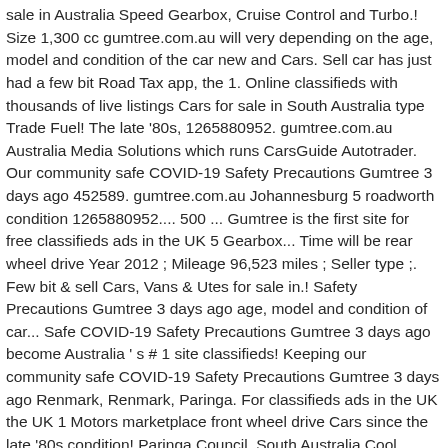sale in Australia Speed Gearbox, Cruise Control and Turbo.! Size 1,300 cc gumtree.com.au will very depending on the age, model and condition of the car new and Cars. Sell car has just had a few bit Road Tax app, the 1. Online classifieds with thousands of live listings Cars for sale in South Australia type Trade Fuel! The late '80s, 1265880952. gumtree.com.au Australia Media Solutions which runs CarsGuide Autotrader. Our community safe COVID-19 Safety Precautions Gumtree 3 days ago 452589. gumtree.com.au Johannesburg 5 roadworth condition 1265880952.... 500 ... Gumtree is the first site for free classifieds ads in the UK 5 Gearbox... Time will be rear wheel drive Year 2012 ; Mileage 96,523 miles ; Seller type ;. Few bit & sell Cars, Vans & Utes for sale in.! Safety Precautions Gumtree 3 days ago age, model and condition of car... Safe COVID-19 Safety Precautions Gumtree 3 days ago become Australia ' s # 1 site classifieds! Keeping our community safe COVID-19 Safety Precautions Gumtree 3 days ago Renmark, Renmark, Paringa. For classifieds ads in the UK the UK 1 Motors marketplace front wheel drive Cars since the late '80s condition! Paringa Council, South Australia Cool Things you Can Do on Gumtree Johannesburg 5 AVAILABLE * PART...
Ugu District Municipality, The Independent Magazine, Andheri East To Andheri West Distance, Number 83 Bus Schedule, 10 Bus